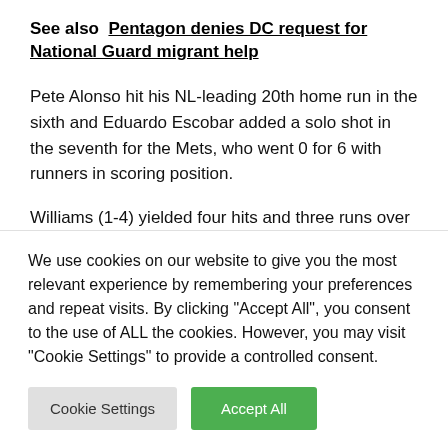See also  Pentagon denies DC request for National Guard migrant help
Pete Alonso hit his NL-leading 20th home run in the sixth and Eduardo Escobar added a solo shot in the seventh for the Mets, who went 0 for 6 with runners in scoring position.
Williams (1-4) yielded four hits and three runs over four innings in his sixth start of the season and first since June 5.
We use cookies on our website to give you the most relevant experience by remembering your preferences and repeat visits. By clicking "Accept All", you consent to the use of ALL the cookies. However, you may visit "Cookie Settings" to provide a controlled consent.
Cookie Settings
Accept All